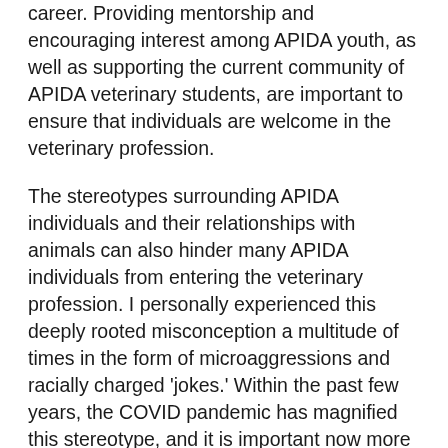career. Providing mentorship and encouraging interest among APIDA youth, as well as supporting the current community of APIDA veterinary students, are important to ensure that individuals are welcome in the veterinary profession.
The stereotypes surrounding APIDA individuals and their relationships with animals can also hinder many APIDA individuals from entering the veterinary profession. I personally experienced this deeply rooted misconception a multitude of times in the form of microaggressions and racially charged 'jokes.' Within the past few years, the COVID pandemic has magnified this stereotype, and it is important now more than ever to educate those around us, and to show how harmful this way of thinking can be. In veterinary environments it is important to expose employees, students, and faculty to different cultures and schools of thought.